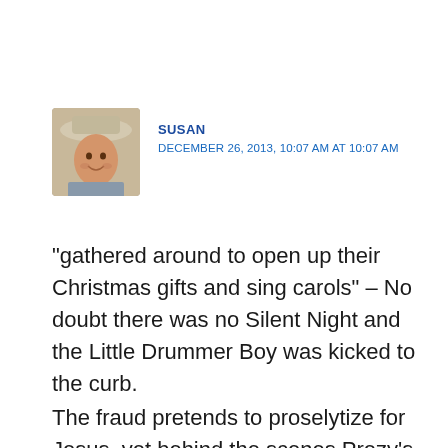[Figure (photo): Avatar photo of a smiling man wearing a light-colored cowboy hat, outdoors]
SUSAN
DECEMBER 26, 2013, 10:07 AM AT 10:07 AM
“gathered around to open up their Christmas gifts and sing carols” – No doubt there was no Silent Night and the Little Drummer Boy was kicked to the curb.
The fraud pretends to proselytize for Jesus, yet behind the scenes Prezy’s